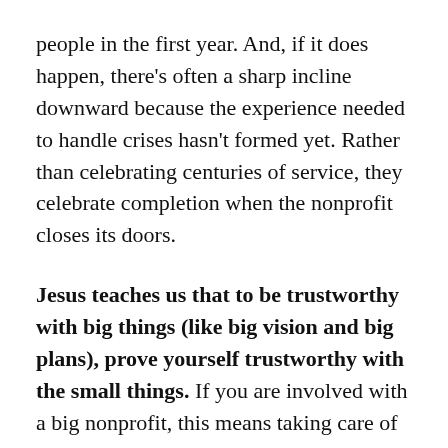people in the first year. And, if it does happen, there's often a sharp incline downward because the experience needed to handle crises hasn't formed yet. Rather than celebrating centuries of service, they celebrate completion when the nonprofit closes its doors.
Jesus teaches us that to be trustworthy with big things (like big vision and big plans), prove yourself trustworthy with the small things. If you are involved with a big nonprofit, this means taking care of the little things, like paperwork, donors who don't give large donations, and responding to the many requests